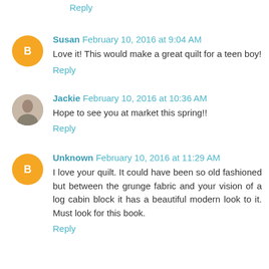Reply
Susan February 10, 2016 at 9:04 AM
Love it! This would make a great quilt for a teen boy!
Reply
Jackie February 10, 2016 at 10:36 AM
Hope to see you at market this spring!!
Reply
Unknown February 10, 2016 at 11:29 AM
I love your quilt. It could have been so old fashioned but between the grunge fabric and your vision of a log cabin block it has a beautiful modern look to it. Must look for this book.
Reply